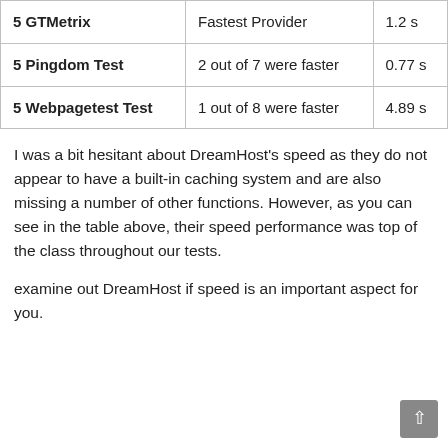|  |  |  |
| --- | --- | --- |
| 5 GTMetrix | Fastest Provider | 1.2 s |
| 5 Pingdom Test | 2 out of 7 were faster | 0.77 s |
| 5 Webpagetest Test | 1 out of 8 were faster | 4.89 s |
I was a bit hesitant about DreamHost's speed as they do not appear to have a built-in caching system and are also missing a number of other functions. However, as you can see in the table above, their speed performance was top of the class throughout our tests.
examine out DreamHost if speed is an important aspect for you.